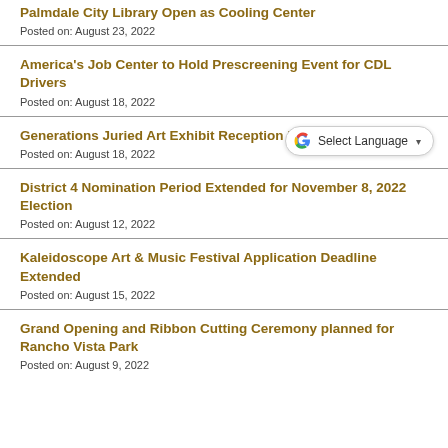Palmdale City Library Open as Cooling Center
Posted on: August 23, 2022
America's Job Center to Hold Prescreening Event for CDL Drivers
Posted on: August 18, 2022
Generations Juried Art Exhibit Reception Planned
Posted on: August 18, 2022
District 4 Nomination Period Extended for November 8, 2022 Election
Posted on: August 12, 2022
Kaleidoscope Art & Music Festival Application Deadline Extended
Posted on: August 15, 2022
Grand Opening and Ribbon Cutting Ceremony planned for Rancho Vista Park
Posted on: August 9, 2022